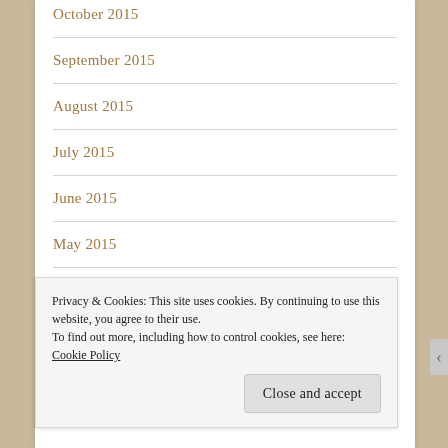October 2015
September 2015
August 2015
July 2015
June 2015
May 2015
April 2015
Privacy & Cookies: This site uses cookies. By continuing to use this website, you agree to their use.
To find out more, including how to control cookies, see here: Cookie Policy